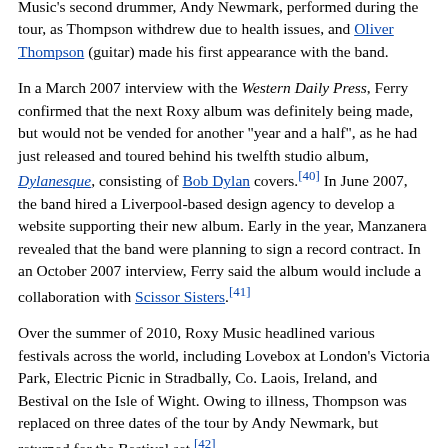Music's second drummer, Andy Newmark, performed during the tour, as Thompson withdrew due to health issues, and Oliver Thompson (guitar) made his first appearance with the band.
In a March 2007 interview with the Western Daily Press, Ferry confirmed that the next Roxy album was definitely being made, but would not be vended for another "year and a half", as he had just released and toured behind his twelfth studio album, Dylanesque, consisting of Bob Dylan covers.[40] In June 2007, the band hired a Liverpool-based design agency to develop a website supporting their new album. Early in the year, Manzanera revealed that the band were planning to sign a record contract. In an October 2007 interview, Ferry said the album would include a collaboration with Scissor Sisters.[41]
Over the summer of 2010, Roxy Music headlined various festivals across the world, including Lovebox at London's Victoria Park, Electric Picnic in Stradbally, Co. Laois, Ireland, and Bestival on the Isle of Wight. Owing to illness, Thompson was replaced on three dates of the tour by Andy Newmark, but returned for the Bestival set.[42]
Roxy performed seven dates around the UK in January and February 2011, in a tour billed 'For Your Pleasure', to celebrate the band's 40th anniversary. They toured Australia and New Zealand